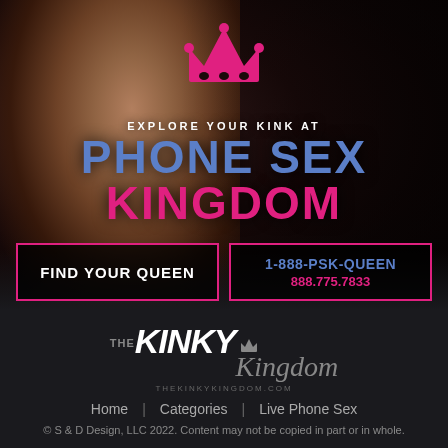[Figure (photo): Woman's face close-up on dark background with pink crown graphic and overlay text]
EXPLORE YOUR KINK AT PHONE SEX KINGDOM
FIND YOUR QUEEN
1-888-PSK-QUEEN 888.775.7833
[Figure (logo): THE KINKY Kingdom logo with crown icon and THEKINKYKINGDOM.COM url]
Home | Categories | Live Phone Sex
© S & D Design, LLC 2022. Content may not be copied in part or in whole.